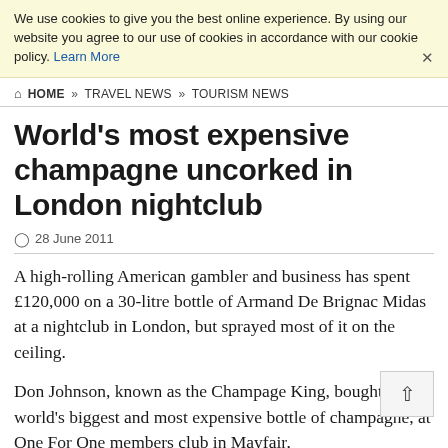We use cookies to give you the best online experience. By using our website you agree to our use of cookies in accordance with our cookie policy. Learn More
HOME » TRAVEL NEWS » TOURISM NEWS
World's most expensive champagne uncorked in London nightclub
28 June 2011
A high-rolling American gambler and business has spent £120,000 on a 30-litre bottle of Armand De Brignac Midas at a nightclub in London, but sprayed most of it on the ceiling.
Don Johnson, known as the Champage King, bought the world's biggest and most expensive bottle of champagne, at One For One members club in Mayfair,